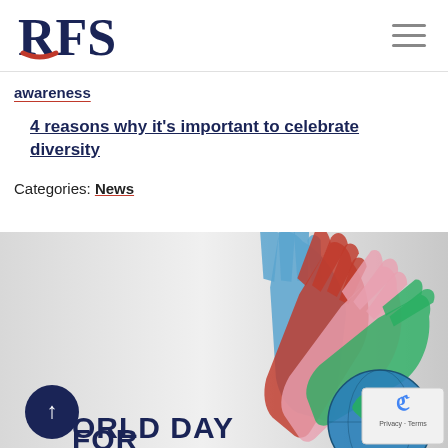RFS
awareness
4 reasons why it's important to celebrate diversity
Categories: News
[Figure (illustration): Colorful paper cutout hands of different colors (blue, red, pink, green) joined together above a globe, with text 'WORLD DAY FOR' partially visible at the bottom.]